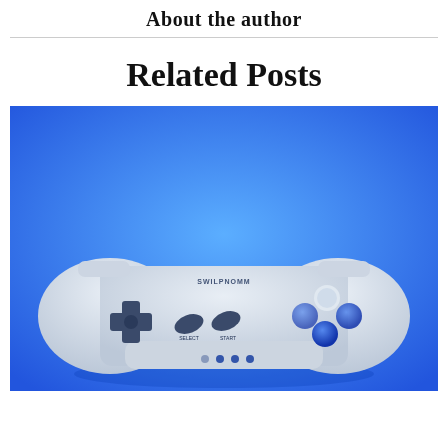About the author
Related Posts
[Figure (photo): A white SNES-style game controller photographed against a bright blue background. The controller has a D-pad on the left, four face buttons on the right, two oval buttons labeled SELECT and START in the center, and four small dots on the bottom front.]